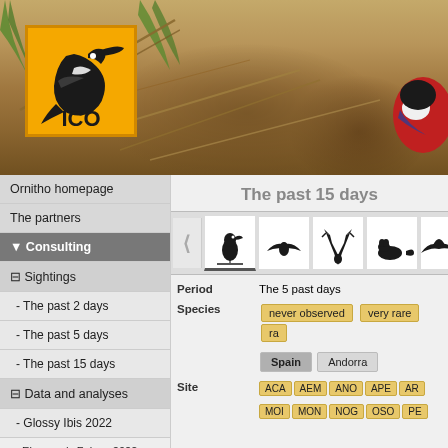[Figure (photo): Banner photo of a bird near dry ground with straw/twigs, with a red-colored bird visible at top right. ICO (Institut Català d'Ornitologia) logo overlaid on top left — orange square with black woodpecker silhouette and text ICO.]
Ornitho homepage
The partners
▼ Consulting
⊟ Sightings
- The past 2 days
- The past 5 days
- The past 15 days
⊟ Data and analyses
- Glossy Ibis 2022
- Eleonora's Falcon 2022
The past 15 days
Period: The 5 past days
Species: never observed | very rare | ra...
Site: Spain | Andorra — ACA  AEM  ANO  APE  AR... | MOI  MON  NOG  OSO  PE...